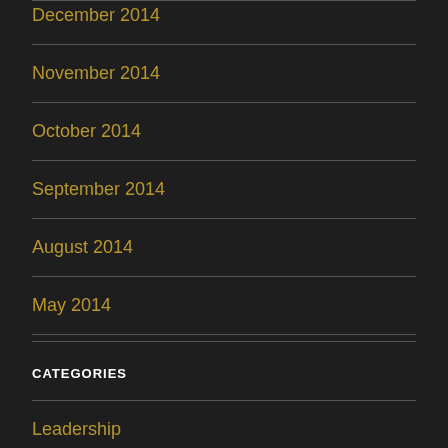December 2014
November 2014
October 2014
September 2014
August 2014
May 2014
CATEGORIES
Leadership